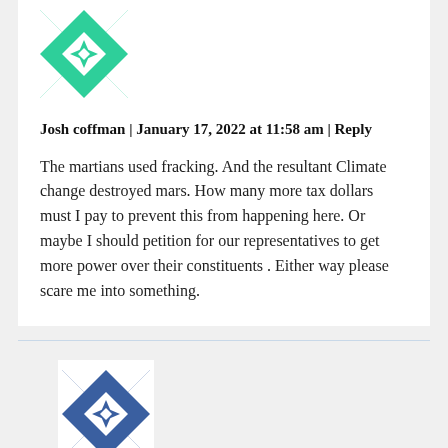[Figure (illustration): Green geometric quilt-pattern avatar icon for user Josh coffman]
Josh coffman | January 17, 2022 at 11:58 am | Reply
The martians used fracking. And the resultant Climate change destroyed mars. How many more tax dollars must I pay to prevent this from happening here. Or maybe I should petition for our representatives to get more power over their constituents . Either way please scare me into something.
[Figure (illustration): Blue geometric quilt-pattern avatar icon for a second commenter]